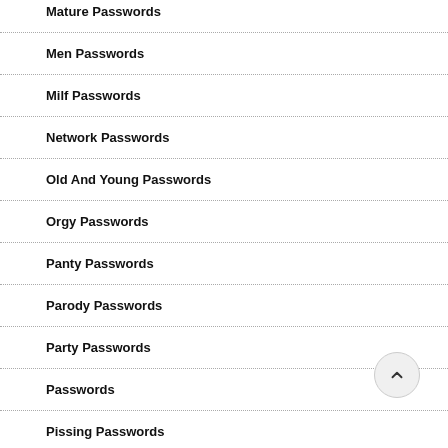Mature Passwords
Men Passwords
Milf Passwords
Network Passwords
Old And Young Passwords
Orgy Passwords
Panty Passwords
Parody Passwords
Party Passwords
Passwords
Pissing Passwords